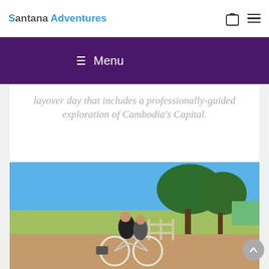Santana Adventures
layover day that includes a professionally-guided exploration of Cambodia's Capital.
[Figure (photo): Two young women riding a bicycle together on a rural dirt path, smiling, with green grass, trees, and a wooden fence in the background under a blue sky.]